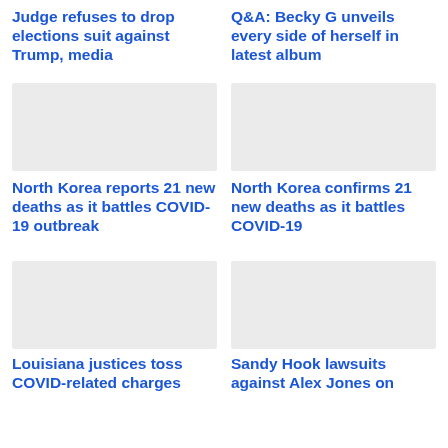Judge refuses to drop elections suit against Trump, media
Q&A: Becky G unveils every side of herself in latest album
[Figure (photo): Image placeholder for North Korea COVID-19 story (left)]
[Figure (photo): Image placeholder for North Korea COVID-19 story (right)]
North Korea reports 21 new deaths as it battles COVID-19 outbreak
North Korea confirms 21 new deaths as it battles COVID-19
[Figure (photo): Image placeholder for Louisiana justices story]
[Figure (photo): Image placeholder for Sandy Hook story]
Louisiana justices toss COVID-related charges
Sandy Hook lawsuits against Alex Jones on